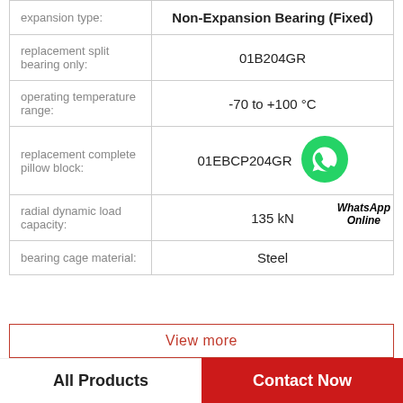| Property | Value |
| --- | --- |
| expansion type: | Non-Expansion Bearing (Fixed) |
| replacement split bearing only: | 01B204GR |
| operating temperature range: | -70 to +100 °C |
| replacement complete pillow block: | 01EBCP204GR |
| radial dynamic load capacity: | 135 kN |
| bearing cage material: | Steel |
[Figure (illustration): WhatsApp Online green phone icon with text 'WhatsApp Online']
View more
All Products | Contact Now